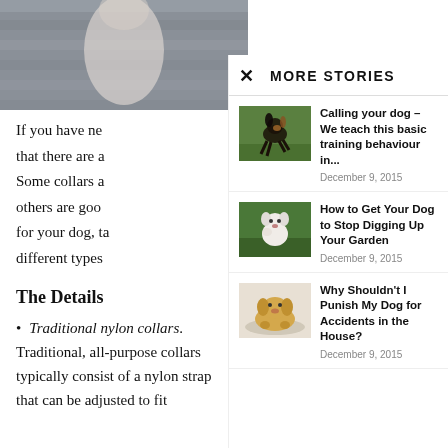[Figure (photo): Background dog photo partially visible at top left]
If you have ne that there are a Some collars a others are goo for your dog, ta different types
The Details
Traditional nylon collars. Traditional, all-purpose collars typically consist of a nylon strap that can be adjusted to fit
MORE STORIES
[Figure (photo): Small dog running on grass – Calling your dog story thumbnail]
Calling your dog – We teach this basic training behaviour in...
December 9, 2015
[Figure (photo): White dog on grass – How to Get Your Dog to Stop Digging story thumbnail]
How to Get Your Dog to Stop Digging Up Your Garden
December 9, 2015
[Figure (photo): Golden lab puppy – Why Shouldn't I Punish My Dog story thumbnail]
Why Shouldn't I Punish My Dog for Accidents in the House?
December 9, 2015